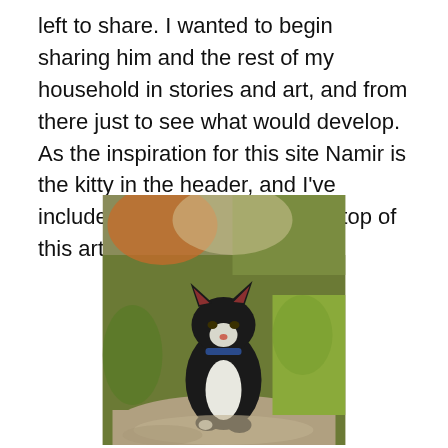left to share. I wanted to begin sharing him and the rest of my household in stories and art, and from there just to see what would develop. As the inspiration for this site Namir is the kitty in the header, and I've included the full painting at the top of this article.
[Figure (photo): A black and white cat sitting outdoors on a rock or stone surface, surrounded by green grass and foliage. The cat is looking toward the camera. There is a blurred orange/pumpkin-colored object in the background upper left.]